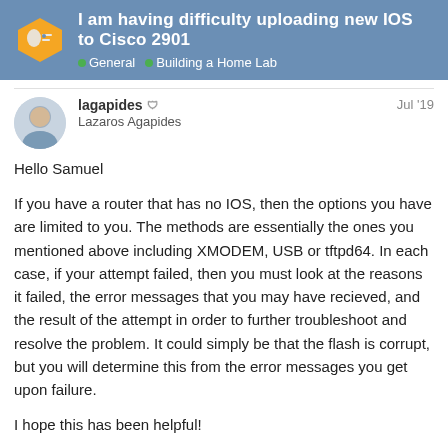I am having difficulty uploading new IOS to Cisco 2901 | General | Building a Home Lab
lagapides | Lazaros Agapides | Jul '19
Hello Samuel
If you have a router that has no IOS, then the options you have are limited to you. The methods are essentially the ones you mentioned above including XMODEM, USB or tftpd64. In each case, if your attempt failed, then you must look at the reasons it failed, the error messages that you may have recieved, and the result of the attempt in order to further troubleshoot and resolve the problem. It could simply be that the flash is corrupt, but you will determine this from the error messages you get upon failure.
I hope this has been helpful!
Laz
1 / 4